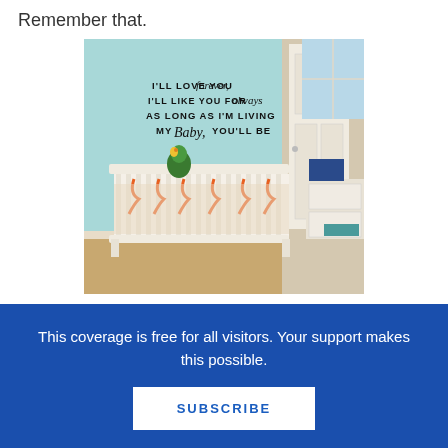Remember that.
[Figure (photo): A nursery room with a white baby crib decorated with orange ribbon ties, a colorful stuffed toy parrot on the crib rail. The light blue wall has a vinyl wall decal that reads: I'LL LOVE YOU forever, I'LL LIKE YOU FOR always, AS LONG AS I'M LIVING MY Baby, YOU'LL BE. A white door and a dresser/changing table are visible on the right.]
Filed under: Fuse 8 n' Kate
This coverage is free for all visitors. Your support makes this possible.
SUBSCRIBE